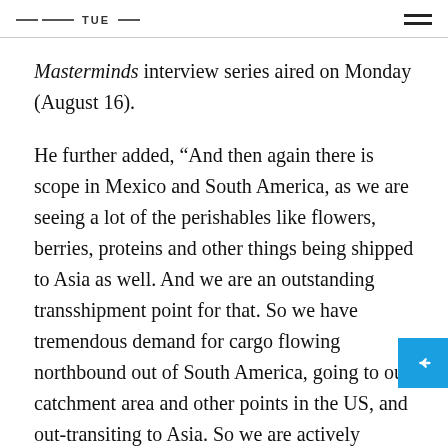TUE
Masterminds interview series aired on Monday (August 16).
He further added, “And then again there is scope in Mexico and South America, as we are seeing a lot of the perishables like flowers, berries, proteins and other things being shipped to Asia as well. And we are an outstanding transshipment point for that. So we have tremendous demand for cargo flowing northbound out of South America, going to our catchment area and other points in the US, and out-transiting to Asia. So we are actively talking to freighter operators about adding services out of South America. We have also been working with Indian